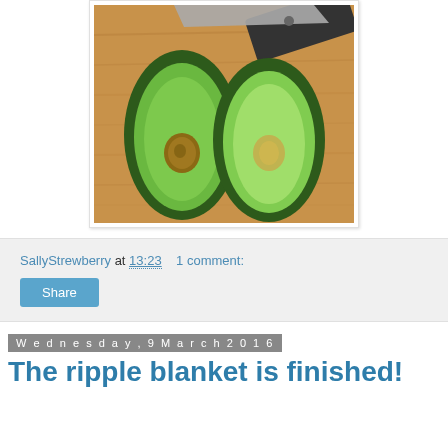[Figure (photo): Two halves of a sliced avocado on a wooden cutting board, with a kitchen knife visible in the upper right corner.]
SallyStrewberry at 13:23   1 comment:
Share
Wednesday, 9 March 2016
The ripple blanket is finished!